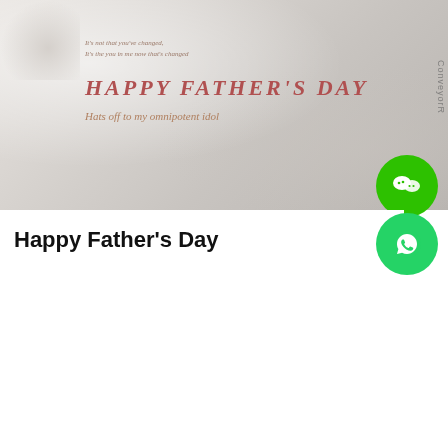[Figure (illustration): Father's Day greeting card image with soft grey/beige background, italic text 'It's not that you've changed, It's the you in me now that's changed', large red italic 'HAPPY FATHER'S DAY', and subtitle 'Hats off to my omnipotent idol'. Vertical sidebar text reads 'ConveyorR'. WeChat green circular button overlays bottom right.]
Happy Father's Day
[Figure (illustration): Product image showing a conveyor belt cross-section on a grey textured surface with a blue stripe at the bottom, and the S=C PLUS logo (black icon with red text) overlaid. WhatsApp, Messenger, and scroll-up circular buttons overlay the right side.]